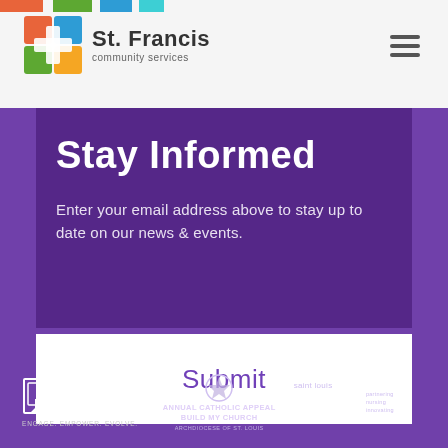[Figure (logo): St. Francis Community Services logo with colorful cross and text]
Stay Informed
Enter your email address above to stay up to date on our news & events.
Submit
[Figure (logo): Council on Accreditation logo - ENGAGE. EMPOWER. EVOLVE.]
[Figure (logo): Annual Catholic Appeal - Build My Church logo]
[Figure (logo): Saint Louis mhb partnering nursing innovating logo]